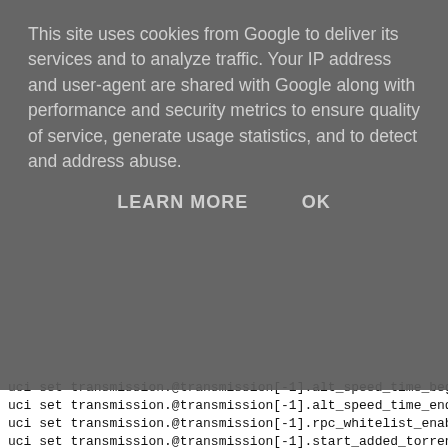This site uses cookies from Google to deliver its services and to analyze traffic. Your IP address and user-agent are shared with Google along with performance and security metrics to ensure quality of service, generate usage statistics, and to detect and address abuse.
LEARN MORE    OK
uci set transmission.@transmission[-1].alt_speed_time_beg
uci set transmission.@transmission[-1].alt_speed_time_end
uci set transmission.@transmission[-1].rpc_whitelist_enab
uci set transmission.@transmission[-1].start_added_torren
uci set transmission.@transmission[-1].script_torrent_don
uci set transmission.@transmission[-1].script_torrent_don
uci set transmission.@transmission[-1].watch_dir_enabled=
uci set transmission.@transmission[-1].watch_dir=/data/to
uci set transmission.@transmission[-1].rpc_url=/myadmin/t
uci set transmission.@transmission[-1].rpc_authentication
uci set transmission.@transmission[-1].rpc_username=ruzic
uci set transmission.@transmission[-1].rpc_password=xxxx
uci set transmission.@transmission[-1].ratio_limit=0
uci set transmission.@transmission[-1].ratio_limit_enable
uci set transmission.@transmission[-1].upload_slots_per_t
uci set transmission.@transmission[-1].trash_original_tor
uci set transmission.@transmission[-1].download_queue_siz